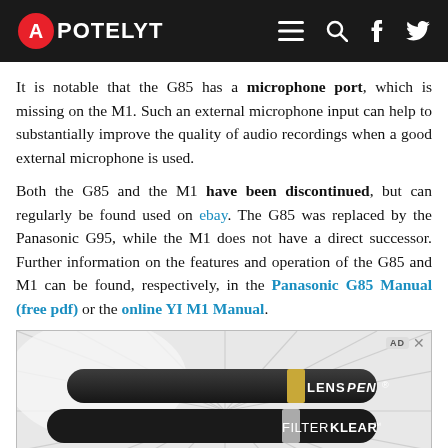APOTELYT
It is notable that the G85 has a microphone port, which is missing on the M1. Such an external microphone input can help to substantially improve the quality of audio recordings when a good external microphone is used.
Both the G85 and the M1 have been discontinued, but can regularly be found used on ebay. The G85 was replaced by the Panasonic G95, while the M1 does not have a direct successor. Further information on the features and operation of the G85 and M1 can be found, respectively, in the Panasonic G85 Manual (free pdf) or the online YI M1 Manual.
[Figure (photo): Advertisement image showing LENSPEN, FILTERKLEAR, and microPRO lens cleaning products on a white surface with manga-style radial speed lines in the background.]